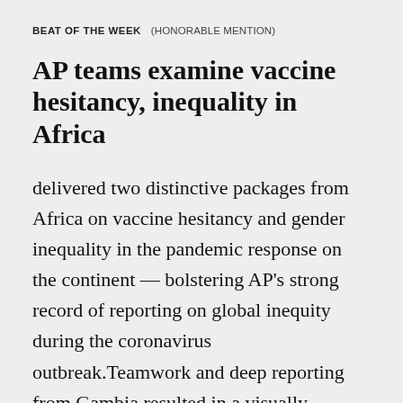BEAT OF THE WEEK   (HONORABLE MENTION)
AP teams examine vaccine hesitancy, inequality in Africa
delivered two distinctive packages from Africa on vaccine hesitancy and gender inequality in the pandemic response on the continent — bolstering AP's strong record of reporting on global inequity during the coronavirus outbreak.Teamwork and deep reporting from Gambia resulted in a visually stunning package that revealed Africa's women as being the least vaccinated population in the world and explained